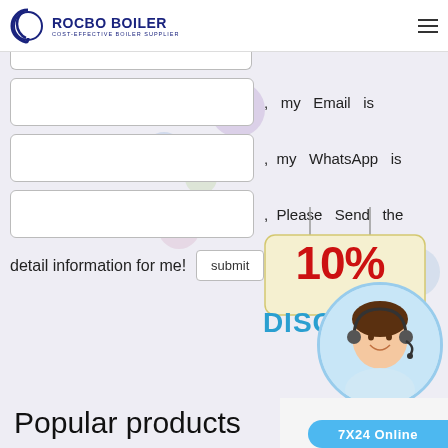ROCBO BOILER - COST-EFFECTIVE BOILER SUPPLIER
[Figure (screenshot): Web form with input fields for Email and WhatsApp, a submit button, a 10% discount badge, and decorative bubbles on a light purple background]
Popular products
[Figure (photo): Customer service representative wearing headset, circular cropped photo]
7X24 Online